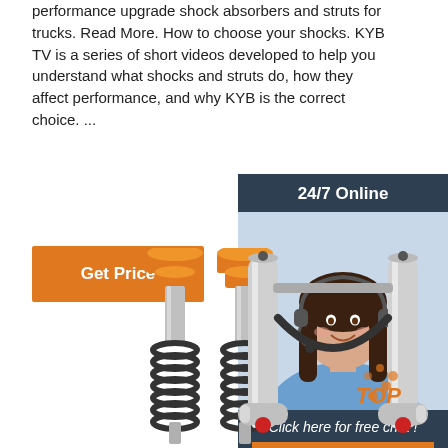performance upgrade shock absorbers and struts for trucks. Read More. How to choose your shocks. KYB TV is a series of short videos developed to help you understand what shocks and struts do, how they affect performance, and why KYB is the correct choice. ...
Get Price
24/7 Online
[Figure (photo): Customer service representative woman with headset smiling]
Click here for free chat !
QUOTATION
[Figure (photo): Orange coilover shock absorbers pair]
[Figure (photo): Silver remote reservoir shock absorbers with TOP logo]